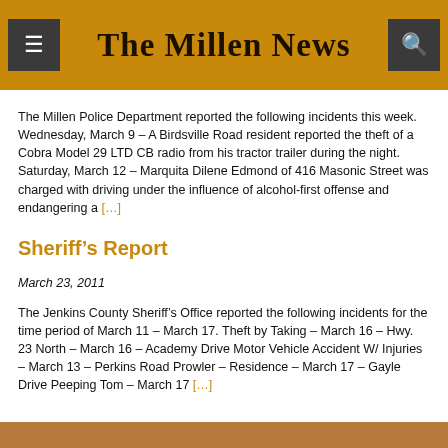The Millen News
The Millen Police Department reported the following incidents this week. Wednesday, March 9 – A Birdsville Road resident reported the theft of a Cobra Model 29 LTD CB radio from his tractor trailer during the night. Saturday, March 12 – Marquita Dilene Edmond of 416 Masonic Street was charged with driving under the influence of alcohol-first offense and endangering a [...]
Sheriff’s Report
March 23, 2011
The Jenkins County Sheriff’s Office reported the following incidents for the time period of March 11 – March 17. Theft by Taking – March 16 – Hwy. 23 North – March 16 – Academy Drive Motor Vehicle Accident W/ Injuries – March 13 – Perkins Road Prowler – Residence – March 17 – Gayle Drive Peeping Tom – March 17 [...]
[Figure (photo): Bottom partial image, likely a newspaper photo, cropped at page bottom]